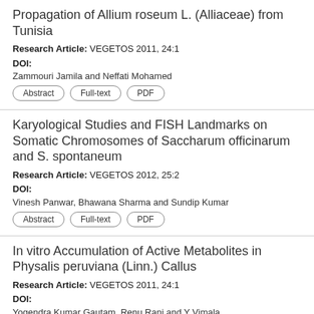Propagation of Allium roseum L. (Alliaceae) from Tunisia
Research Article: VEGETOS 2011, 24:1
DOI:
Zammouri Jamila and Neffati Mohamed
Karyological Studies and FISH Landmarks on Somatic Chromosomes of Saccharum officinarum and S. spontaneum
Research Article: VEGETOS 2012, 25:2
DOI:
Vinesh Panwar, Bhawana Sharma and Sundip Kumar
In vitro Accumulation of Active Metabolites in Physalis peruviana (Linn.) Callus
Research Article: VEGETOS 2011, 24:1
DOI:
Yogendra Kumar Gautam, Renu Rani and Y Vimala